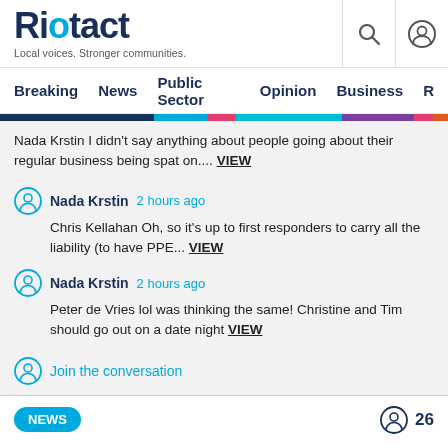Riotact — Local voices. Stronger communities.
Breaking  News  Public Sector  Opinion  Business  R
Nada Krstin I didn't say anything about people going about their regular business being spat on.... VIEW
Nada Krstin  2 hours ago
Chris Kellahan Oh, so it's up to first responders to carry all the liability (to have PPE... VIEW
Nada Krstin  2 hours ago
Peter de Vries lol was thinking the same! Christine and Tim should go out on a date night VIEW
Join the conversation
NEWS  26